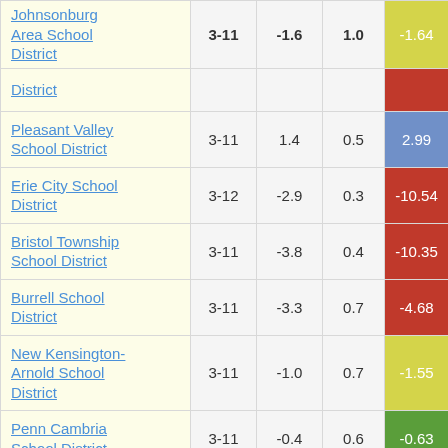| School District | Grades | Col3 | Col4 | Score |
| --- | --- | --- | --- | --- |
| Johnsonburg Area School District | 3-11 | -1.6 | 1.0 | -1.64 |
| (District partial) |  |  |  |  |
| Pleasant Valley School District | 3-11 | 1.4 | 0.5 | 2.99 |
| Erie City School District | 3-12 | -2.9 | 0.3 | -10.54 |
| Bristol Township School District | 3-11 | -3.8 | 0.4 | -10.35 |
| Burrell School District | 3-11 | -3.3 | 0.7 | -4.68 |
| New Kensington-Arnold School District | 3-11 | -1.0 | 0.7 | -1.55 |
| Penn Cambria School District | 3-11 | -0.4 | 0.6 | -0.63 |
| Panther Valley | 3-12 | -0.1 | 0.1 | ... |